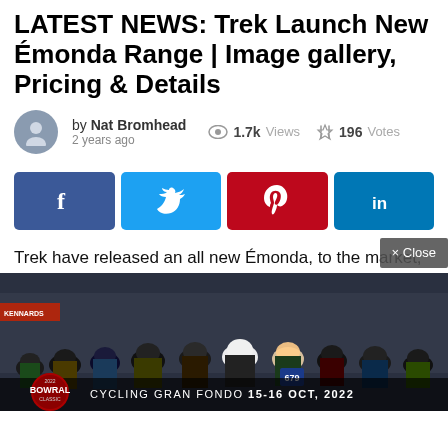LATEST NEWS: Trek Launch New Émonda Range | Image gallery, Pricing & Details
by Nat Bromhead  2 years ago   1.7k Views   196 Votes
[Figure (infographic): Social share buttons: Facebook, Twitter, Pinterest, LinkedIn]
Trek have released an all new Émonda, to the market,
[Figure (photo): Advertisement banner: 2022 Bowral Classic Cycling Gran Fondo 15-16 Oct, 2022, showing crowd of cyclists]
× Close